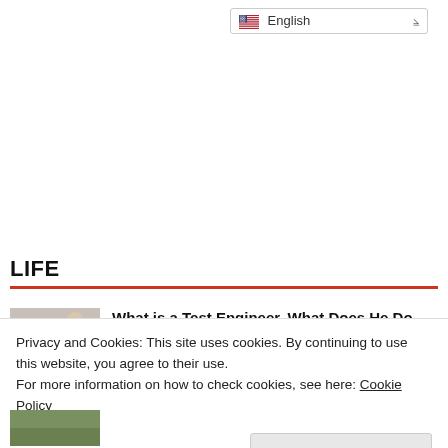[Figure (screenshot): Language selector dropdown showing flag icon and 'English' with chevron]
LIFE
[Figure (photo): Thumbnail image of a person writing or working at a desk]
What is a Test Engineer, What Does He Do,
Privacy and Cookies: This site uses cookies. By continuing to use this website, you agree to their use.
For more information on how to check cookies, see here: Cookie Policy
OK
[Figure (photo): Thumbnail image at the bottom of the page (partially visible)]